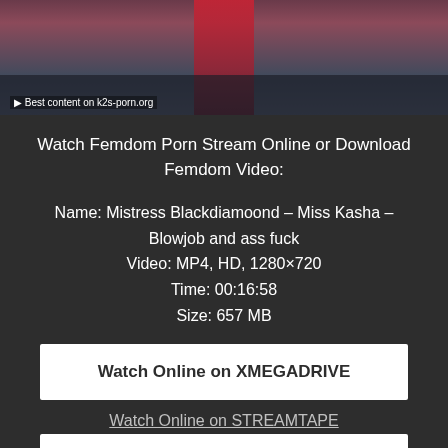[Figure (photo): Thumbnail image showing femdom content with red boots and dark background, watermark text: Best content on k2s-porn.org]
Watch Femdom Porn Stream Online or Download Femdom Video:
Name: Mistress Blackdiamoond – Miss Kasha – Blowjob and ass fuck
Video: MP4, HD, 1280×720
Time: 00:16:58
Size: 657 MB
Watch Online on XMEGADRIVE
Watch Online on STREAMTAPE
Watch Online on VIDEOBIN